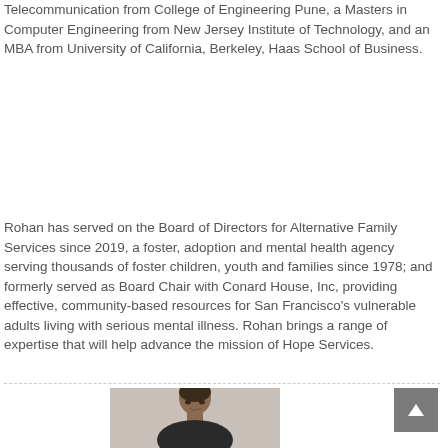Telecommunication from College of Engineering Pune, a Masters in Computer Engineering from New Jersey Institute of Technology, and an MBA from University of California, Berkeley, Haas School of Business.
Rohan has served on the Board of Directors for Alternative Family Services since 2019, a foster, adoption and mental health agency serving thousands of foster children, youth and families since 1978; and formerly served as Board Chair with Conard House, Inc, providing effective, community-based resources for San Francisco's vulnerable adults living with serious mental illness. Rohan brings a range of expertise that will help advance the mission of Hope Services.
[Figure (photo): Portrait photo of a man with dark hair, partial view showing head and shoulders against a light background]